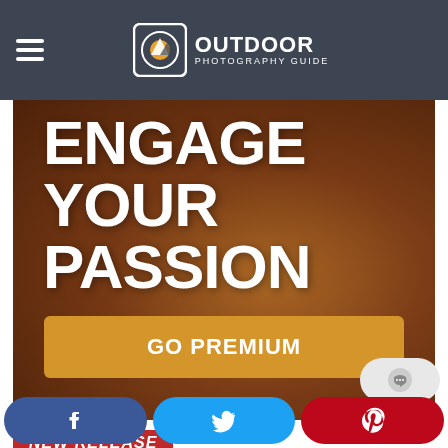Outdoor Photography Guide – navigation bar with hamburger menu, logo, cart and user icons
[Figure (screenshot): Hero banner image with text overlay 'ENGAGE YOUR PASSION' and a golden 'GO PREMIUM' call-to-action button, on top of a warm-toned outdoor photography background]
ENGAGE YOUR PASSION
GO PREMIUM
NEW RELEASE
[Figure (illustration): Chat/comment bubble button in gray rounded pill shape]
[Figure (illustration): Social share bar with Facebook, Twitter, and Pinterest buttons]